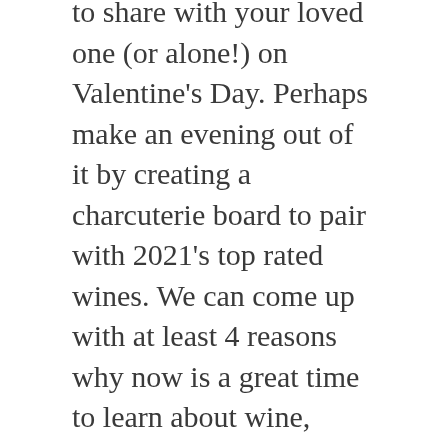to share with your loved one (or alone!) on Valentine's Day. Perhaps make an evening out of it by creating a charcuterie board to pair with 2021's top rated wines. We can come up with at least 4 reasons why now is a great time to learn about wine, Valentine's Day simply offers a perfect reason to get started.
So there you have it, 3 vastly different Valentine's Day drink options for you and yours to try out. Feel free to get creative